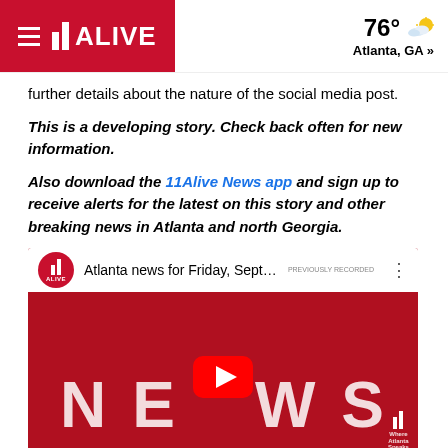11 ALIVE | 76° Atlanta, GA »
further details about the nature of the social media post.
This is a developing story. Check back often for new information.
Also download the 11Alive News app and sign up to receive alerts for the latest on this story and other breaking news in Atlanta and north Georgia.
[Figure (screenshot): YouTube video embed showing 11 ALIVE news video titled 'Atlanta news for Friday, Sept. 2 | Tip...' with a red background displaying large letters 'NEWS' with a YouTube play button overlay and 11 ALIVE logo in the corner. Labeled 'PREVIOUSLY RECORDED'.]